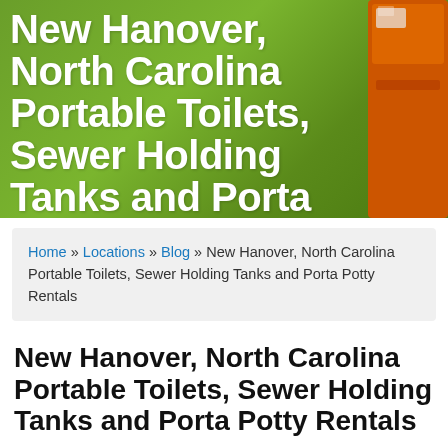[Figure (photo): Hero banner image showing green grass background with an orange porta potty/portable toilet on the right side, overlaid with large white bold text for the page title.]
New Hanover, North Carolina Portable Toilets, Sewer Holding Tanks and Porta Potty Rentals
Home » Locations » Blog » New Hanover, North Carolina Portable Toilets, Sewer Holding Tanks and Porta Potty Rentals
New Hanover, North Carolina Portable Toilets, Sewer Holding Tanks and Porta Potty Rentals